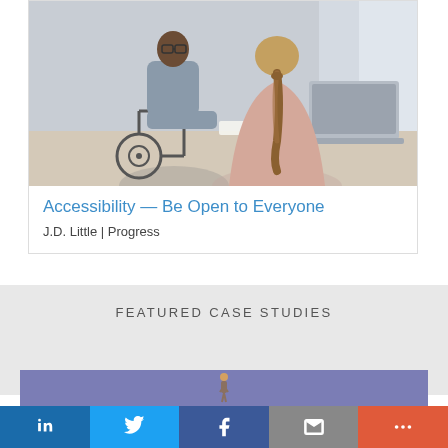[Figure (photo): A man in a wheelchair with glasses wearing a grey hoodie sits across a desk from a woman with a braided ponytail in a pink sweater. A laptop is open on the desk. Office/consultation setting with windows in background.]
Accessibility — Be Open to Everyone
J.D. Little | Progress
FEATURED CASE STUDIES
[Figure (photo): Blue-purple banner strip with a small figure/logo icon centered on it.]